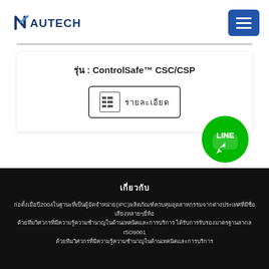[Figure (logo): NAUTECH company logo in dark blue with stylized N checkmark]
[Figure (other): Blue hamburger menu button with three white horizontal lines]
รุ่น : ControlSafe™ CSC/CSP
[Figure (other): Button with list icon and Thai text รายละเอียด]
[Figure (logo): Green LINE app circular badge/button]
เกี่ยวกับ
ก่อตั้งเมื่อปี2004ในฐานะที่เป็นผู้จัดจำหน่าย(IPC)ผลิตภัณฑ์ควบคุมอุตสาหกรรมจากต่างประเทศที่มีชื่อเสียงหลายๆยี่ห้อ ด้วยทีมวิศวกรที่มีความรู้ความชำนาญในด้านเทคนิคและการบริการ ได้รับการรับรองมาตรฐานสากล ISO9001